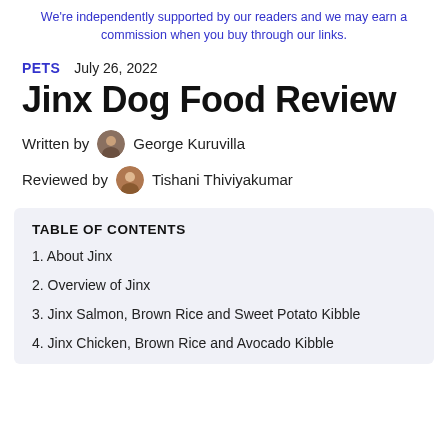We're independently supported by our readers and we may earn a commission when you buy through our links.
PETS   July 26, 2022
Jinx Dog Food Review
Written by  George Kuruvilla
Reviewed by  Tishani Thiviyakumar
TABLE OF CONTENTS
1. About Jinx
2. Overview of Jinx
3. Jinx Salmon, Brown Rice and Sweet Potato Kibble
4. Jinx Chicken, Brown Rice and Avocado Kibble